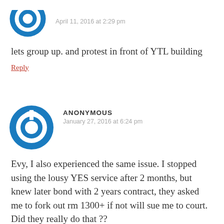[Figure (illustration): Blue circular power-button style avatar icon, partially cropped at top]
April 11, 2016 at 2:29 pm
lets group up. and protest in front of YTL building
Reply
[Figure (illustration): Blue circular power-button style avatar icon for Anonymous commenter]
ANONYMOUS
January 27, 2016 at 6:24 pm
Evy, I also experienced the same issue. I stopped using the lousy YES service after 2 months, but knew later bond with 2 years contract, they asked me to fork out rm 1300+ if not will sue me to court. Did they really do that ??